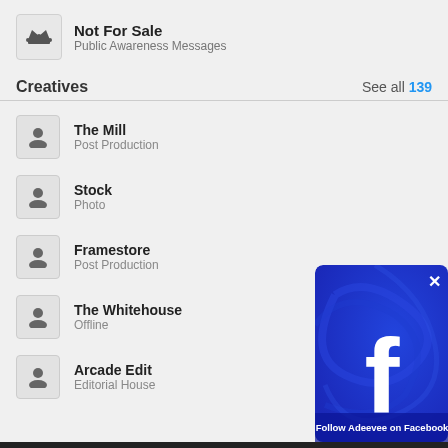Not For Sale — Public Awareness Messages
Creatives  See all 139
The Mill — Post Production
Stock — Photo
Framestore — Post Production
The Whitehouse — Offline
Arcade Edit — Editorial House
[Figure (screenshot): Facebook social prompt overlay with blue background, large white Facebook 'f' logo, close X button, and text 'Follow Adeevee on Facebook']